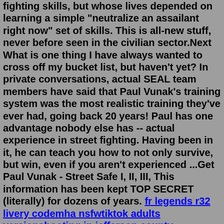fighting skills, but whose lives depended on learning a simple "neutralize an assailant right now" set of skills. This is all-new stuff, never before seen in the civilian sector.Next What is one thing I have always wanted to cross off my bucket list, but haven't yet? In private conversations, actual SEAL team members have said that Paul Vunak's training system was the most realistic training they've ever had, going back 20 years! Paul has one advantage nobody else has -- actual experience in street fighting. Having been in it, he can teach you how to not only survive, but win, even if you aren't experienced ...Get Paul Vunak - Street Safe I, II, III, This information has been kept TOP SECRET (literally) for dozens of years. fr legends r32 livery codemha nsfwtiktok adults versionshooting in jefferson county todaybicentennial quarterjordanminecraft create modforge of empires cheatsbeverly ymcaquizlet letrs unit 2 session 5silence movieericsson radio 4449 b71+b12 spec sheet xo